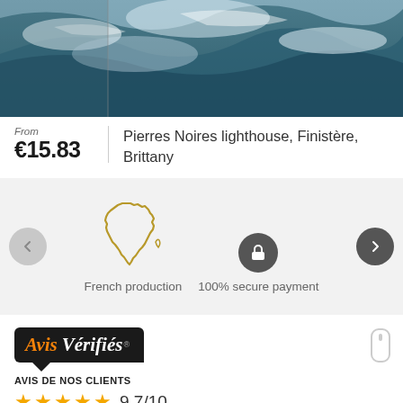[Figure (photo): Aerial view of rough ocean waves with white foam and dark green-blue water, Pierres Noires lighthouse area]
From €15.83
Pierres Noires lighthouse, Finistère, Brittany
[Figure (illustration): Golden outline illustration of France map shape]
French production
[Figure (illustration): Dark circle button with lock/security icon for 100% secure payment]
100% secure payment
[Figure (logo): Avis Vérifiés badge on dark background with speech bubble shape]
AVIS DE NOS CLIENTS
★★★★★ 9.7/10